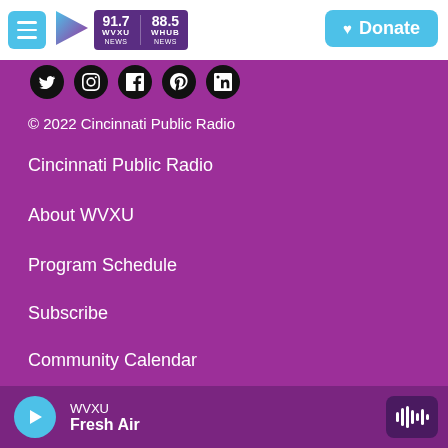WVXU 91.7 NEWS | WHUB 88.5 NEWS | Donate
[Figure (screenshot): Social media icons row (Twitter/X, Instagram, Facebook, Pinterest, LinkedIn) as white icons on black circles]
© 2022 Cincinnati Public Radio
Cincinnati Public Radio
About WVXU
Program Schedule
Subscribe
Community Calendar
Contact Us
WVXU Democracy and Me for Educators
WVXU / Fresh Air